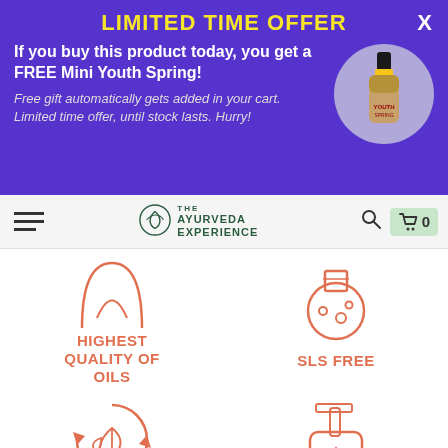LIMITED TIME OFFER
If you buy this product today, you get a FREE Mini Youth Spring!
Free gift automatically gets added in your cart.  Limited time offer, until stock lasts.  Hurry!
[Figure (photo): Small dropper bottle product image in a grey circle]
The Ayurveda Experience
[Figure (illustration): Oil drop icon – HIGHEST QUALITY OF OILS]
[Figure (illustration): Flask/beaker icon – SLS FREE]
[Figure (illustration): Leaf recycling icon – NO INGREDIENTS]
[Figure (illustration): Pump bottle icon with leaf]